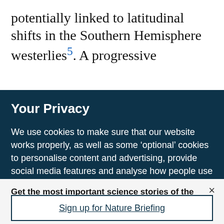potentially linked to latitudinal shifts in the Southern Hemisphere westerlies5. A progressive
Your Privacy
We use cookies to make sure that our website works properly, as well as some ‘optional’ cookies to personalise content and advertising, provide social media features and analyse how people use our site. By accepting some or all optional cookies you give consent to the processing of your personal data, including transfer to third parties, some in countries outside of the European Economic Area that do not offer the same data protection standards as the country where you live. You can decide which optional cookies to accept by clicking on ‘Manage Settings’, where you can
Get the most important science stories of the day, free in your inbox.
Sign up for Nature Briefing